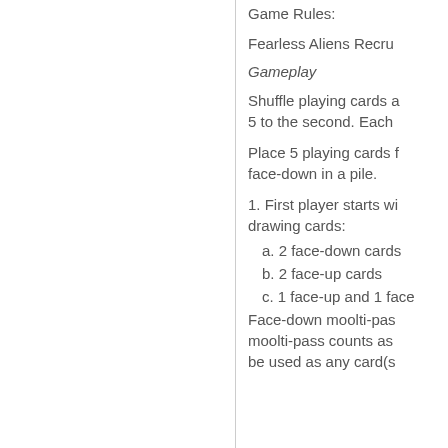Game Rules:
Fearless Aliens Recru
Gameplay
Shuffle playing cards a 5 to the second. Each
Place 5 playing cards f face-down in a pile.
1. First player starts wi drawing cards:
a. 2 face-down cards
b. 2 face-up cards
c. 1 face-up and 1 face
Face-down moolti-pas moolti-pass counts as be used as any card(s